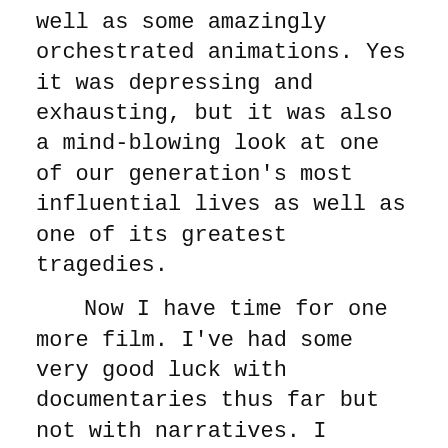well as some amazingly orchestrated animations. Yes it was depressing and exhausting, but it was also a mind-blowing look at one of our generation's most influential lives as well as one of its greatest tragedies.

Now I have time for one more film. I've had some very good luck with documentaries thus far but not with narratives. I really wanted to see a good narrative before I left, and since they had just announced the winners of the festival, I decided to try my luck at the late screening of Krisha, the narrative that won big at the festival. Here, writer/director Trey Edward Shults, a Houston